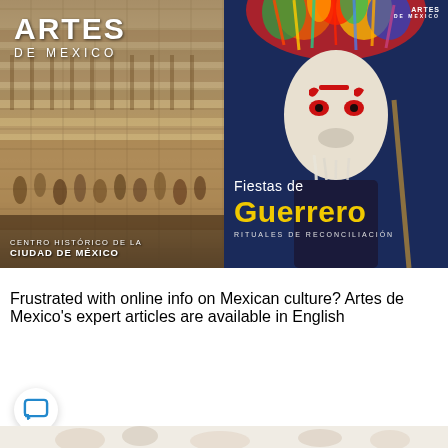[Figure (illustration): Two magazine covers side by side. Left: Artes de Mexico magazine cover showing 'Centro Histórico de la Ciudad de México' with a historical painting of a crowded marketplace. Right: Artes de Mexico magazine cover showing 'Fiestas de Guerrero – Rituales de Reconciliación' featuring a person wearing a traditional white and red mask with colorful headdress.]
Frustrated with online info on Mexican culture? Artes de Mexico's expert articles are available in English
[Figure (illustration): Chat/message bubble icon button (white circle with blue speech bubble icon)]
[Figure (photo): Partial bottom strip showing what appears to be food items on a light background]